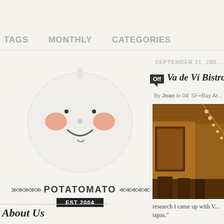TAGS   MONTHLY   CATEGORIES
[Figure (illustration): Cartoon round white character with rosy cheeks and a smile, resembling a tomato-potato hybrid mascot]
POTATOMATO EST 2004
About Us
SEPTEMBER 21, 200...
Va de Ví Bistro a...
By Joan in 04: SF+Bay Ar...
[Figure (photo): Interior photo of a warm restaurant with string lights, wooden ceiling, mirrors on walls, and dining chairs]
research I came up with V... tapas."